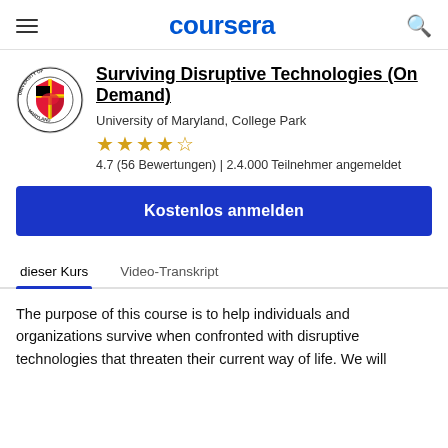coursera
Surviving Disruptive Technologies (On Demand)
University of Maryland, College Park
★★★★☆ 4.7 (56 Bewertungen) | 2.4.000 Teilnehmer angemeldet
Kostenlos anmelden
dieser Kurs   Video-Transkript
The purpose of this course is to help individuals and organizations survive when confronted with disruptive technologies that threaten their current way of life. We will